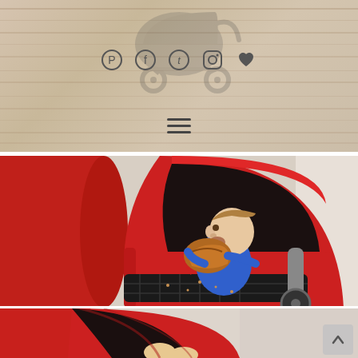[Figure (photo): Website header with faded stroller silhouette on beige/wood-textured background, with social media icons (Pinterest, Facebook, Twitter, Instagram, heart/favorites) centered below the stroller image, and a hamburger menu icon near the bottom of the header.]
[Figure (photo): Close-up photo of a young toddler sitting in a red stroller/pushchair with a black tray, eating a large bread roll or croissant. The stroller has a red canopy and red seat. Another red stroller seat is partially visible on the left.]
[Figure (photo): Close-up photo of the red stroller fabric and canopy detail, showing the bottom portion of the stroller from a low angle, with a partial view of a child's legs.]